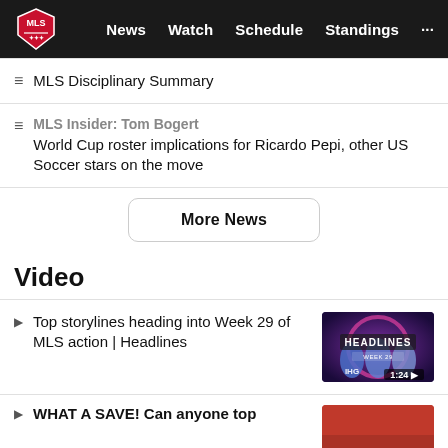MLS — News | Watch | Schedule | Standings
MLS Disciplinary Summary
MLS Insider: Tom Bogert — World Cup roster implications for Ricardo Pepi, other US Soccer stars on the move
More News
Video
Top storylines heading into Week 29 of MLS action | Headlines — 1:24
WHAT A SAVE! Can anyone top…